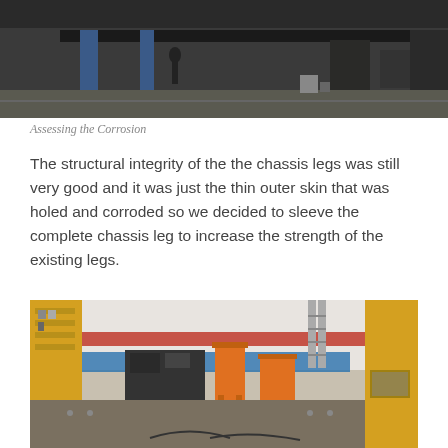[Figure (photo): Workshop/garage floor view showing metal chassis rails suspended on a hoist, with the shop floor visible below in a dimly lit industrial space]
Assessing the Corrosion
The structural integrity of the the chassis legs was still very good and it was just the thin outer skin that was holed and corroded so we decided to sleeve the complete chassis leg to increase the strength of the existing legs.
[Figure (photo): Truck chassis frame viewed from above and in front, showing bare metal chassis rails inside a commercial garage/workshop with tools, shelving, orange lift stands, and a yellow vehicle body panel visible in the background]